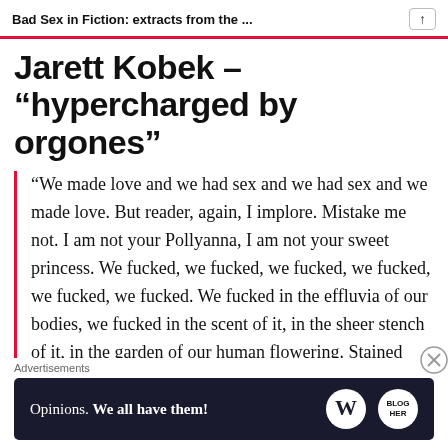Bad Sex in Fiction: extracts from the ...
Jarett Kobek – “hypercharged by orgones”
“We made love and we had sex and we had sex and we made love. But reader, again, I implore. Mistake me not. I am not your Pollyanna, I am not your sweet princess. We fucked, we fucked, we fucked, we fucked, we fucked, we fucked. We fucked in the effluvia of our bodies, we fucked in the scent of it, in the sheer stench of it, in the garden of our human flowering. Stained sheets,
Advertisements
[Figure (infographic): Advertisement banner with dark navy background. Text reads 'Opinions. We all have them!' with WordPress logo and another circular logo on the right.]